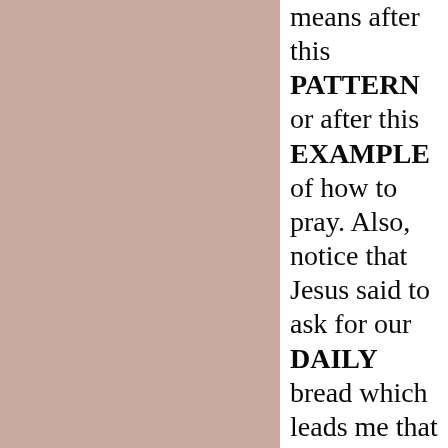means after this PATTERN or after this EXAMPLE of how to pray. Also, notice that Jesus said to ask for our DAILY bread which leads me that we should